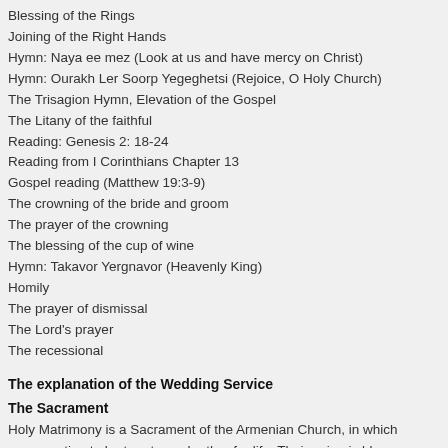Blessing of the Rings
Joining of the Right Hands
Hymn: Naya ee mez (Look at us and have mercy on Christ)
Hymn: Ourakh Ler Soorp Yegeghetsi (Rejoice, O Holy Church)
The Trisagion Hymn, Elevation of the Gospel
The Litany of the faithful
Reading: Genesis 2: 18-24
Reading from I Corinthians Chapter 13
Gospel reading (Matthew 19:3-9)
The crowning of the bride and groom
The prayer of the crowning
The blessing of the cup of wine
Hymn: Takavor Yergnavor (Heavenly King)
Homily
The prayer of dismissal
The Lord's prayer
The recessional
The explanation of the Wedding Service
The Sacrament
Holy Matrimony is a Sacrament of the Armenian Church, in which congregation to be true to each other for life. Their union is bles… Armenian Church is replete with symbolism.
The Exchange of Vows